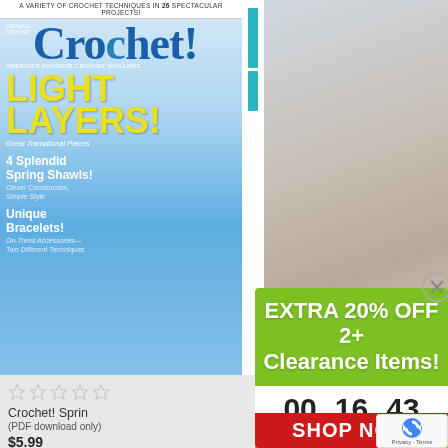[Figure (photo): Crochet! magazine cover showing a woman in a blue crochet top with text: LIGHT LAYERS!, 4 Splendid Spring Shawls!, Unique Bracelets!]
[Figure (photo): Photo of a blonde woman wearing a beige/grey crochet sweater, beside a teal spine element]
☆ ☆ ☆ ☆ ☆
Crochet! Sprin
(PDF download only)
$5.99
[Figure (infographic): Green promotional overlay with text: EXTRA 20% OFF 2+ Clearance Items!]
EXTRA 20% OFF 2+ Clearance Items!
00 Day   16 Hr   43 Min
SHOP NOW